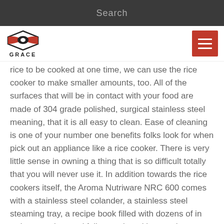Search
[Figure (logo): Grace company logo with stylized red and black emblem above the text GRACE]
rice to be cooked at one time, we can use the rice cooker to make smaller amounts, too. All of the surfaces that will be in contact with your food are made of 304 grade polished, surgical stainless steel meaning, that it is all easy to clean. Ease of cleaning is one of your number one benefits folks look for when pick out an appliance like a rice cooker. There is very little sense in owning a thing that is so difficult totally that you will never use it. In addition towards the rice cookers itself, the Aroma Nutriware NRC 600 comes with a stainless steel colander, a stainless steel steaming tray, a recipe book filled with dozens of in order to understand follow and nutritious recipes, a measuring cup and a bamboo rice paddle. You can select how much rice you want to cook by control solar panel. That way, you have well cooked, perfectly done